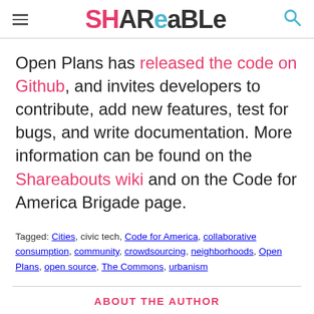Shareable
Open Plans has released the code on Github, and invites developers to contribute, add new features, test for bugs, and write documentation. More information can be found on the Shareabouts wiki and on the Code for America Brigade page.
Tagged: Cities, civic tech, Code for America, collaborative consumption, community, crowdsourcing, neighborhoods, Open Plans, open source, The Commons, urbanism
ABOUT THE AUTHOR